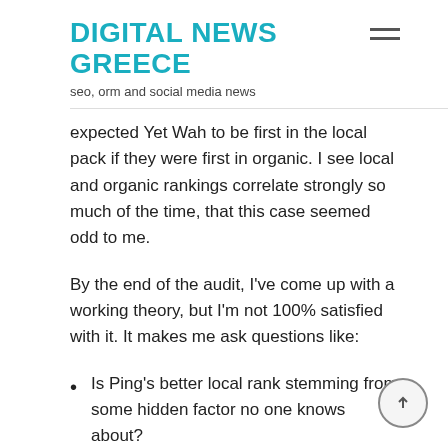DIGITAL NEWS GREECE
seo, orm and social media news
expected Yet Wah to be first in the local pack if they were first in organic. I see local and organic rankings correlate strongly so much of the time, that this case seemed odd to me.
By the end of the audit, I’ve come up with a working theory, but I’m not 100% satisfied with it. It makes me ask questions like:
Is Ping’s better local rank stemming from some hidden factor no one knows about?
In this particular case, why is Google appearing to value Ping’s links more that Yet Wah’s on-page SEO in determining local rank? Would I see this